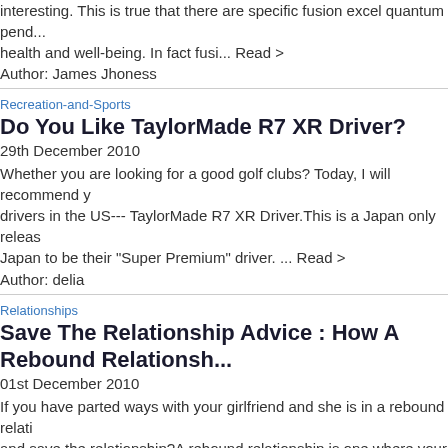interesting. This is true that there are specific fusion excel quantum pend... health and well-being. In fact fusi... Read >
Author: James Jhoness
Recreation-and-Sports
Do You Like TaylorMade R7 XR Driver?
29th December 2010
Whether you are looking for a good golf clubs? Today, I will recommend y drivers in the US--- TaylorMade R7 XR Driver.This is a Japan only releas Japan to be their "Super Premium" driver. ... Read >
Author: delia
Relationships
Save The Relationship Advice : How A Rebound Relationship...
01st December 2010
If you have parted ways with your girlfriend and she is in a rebound relati and save the relationship?A rebound relationship is one where your ex is you Rebound relationships keep people fr... Read >
Author: ZenyZabala
Business
Slurry pump mechanical seal mounting